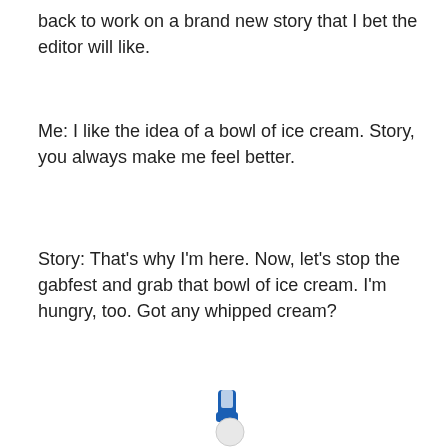back to work on a brand new story that I bet the editor will like.
Me: I like the idea of a bowl of ice cream. Story, you always make me feel better.
Story: That's why I'm here. Now, let's stop the gabfest and grab that bowl of ice cream. I'm hungry, too. Got any whipped cream?
[Figure (illustration): A white 3D figure (person) crouching or kneeling, holding a large blue and white toothbrush or similar object, positioned in the lower center of the page.]